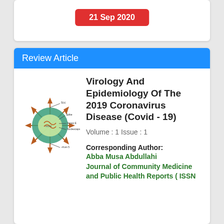21 Sep 2020
Review Article
[Figure (illustration): Diagram of a coronavirus particle showing spike proteins, envelope, membrane, nucleocapsid, and RNA labels]
Virology And Epidemiology Of The 2019 Coronavirus Disease (Covid - 19)
Volume : 1 Issue : 1
Corresponding Author: Abba Musa Abdullahi Journal of Community Medicine and Public Health Reports ( ISSN